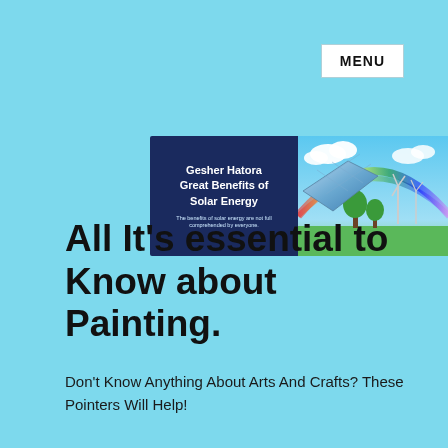MENU
[Figure (illustration): Banner image for Gesher Hatora Great Benefits of Solar Energy website. Left side has dark navy blue background with white bold text reading 'Gesher Hatora Great Benefits of Solar Energy' and small subtitle 'The benefits of solar energy are not full comprehended by everyone.' Right side shows a photo of solar panels, wind turbines, trees, rainbow, and blue sky.]
All It’s essential to Know about Painting.
Don’t Know Anything About Arts And Crafts? These Pointers Will Help!